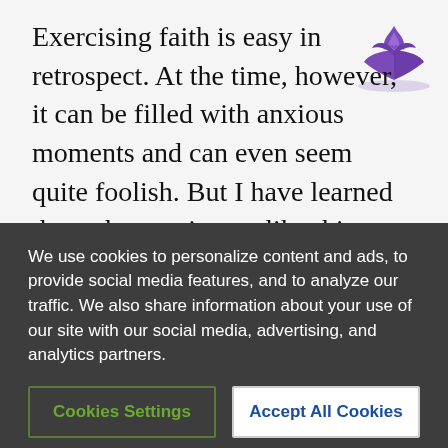Exercising faith is easy in retrospect. At the time, however, it can be filled with anxious moments and can even seem quite foolish. But I have learned through experiences like this that our lives are taken to new heights when we surrender them to Him.
[Figure (logo): Seventh-day Adventist Church logo — purple flame and open book symbol]
The fundamental fact of existence is that this trust in God, this faith, is the firm foundation under everything that makes life worth living. Hebrews 11:1 (The Message).
Darren Morton is a senior lecturer in health and exercise science at Avondale College, and lives in
We use cookies to personalize content and ads, to provide social media features, and to analyze our traffic. We also share information about your use of our site with our social media, advertising, and analytics partners.